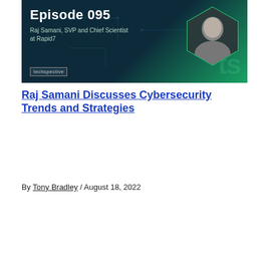[Figure (photo): Techspective podcast banner for Episode 095 featuring Raj Samani, SVP and Chief Scientist at Rapid7, with dark teal and green gradient background, hexagonal portrait photo, circuit board overlay, 'ts' watermark and techspective logo]
Raj Samani Discusses Cybersecurity Trends and Strategies
By Tony Bradley / August 18, 2022
[Figure (photo): Techspective podcast banner for Episode 094 featuring Richard Stiennon, Research Analyst and Author of Security Yearbook 2022, with dark teal and green gradient background and hexagonal portrait photo]